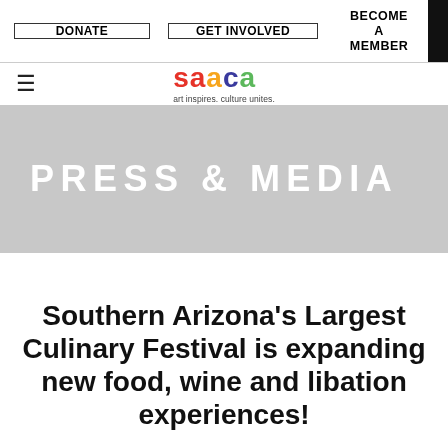DONATE | GET INVOLVED | BECOME A MEMBER
[Figure (logo): SAACA logo with tagline 'art inspires. culture unites.']
PRESS & MEDIA
Southern Arizona's Largest Culinary Festival is expanding new food, wine and libation experiences!